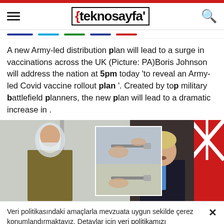teknosayfa
A new Army-led distribution plan will lead to a surge in vaccinations across the UK (Picture: PA)Boris Johnson will address the nation at 5pm today 'to reveal an Army-led Covid vaccine rollout plan '. Created by top military battlefield planners, the new plan will lead to a dramatic increase in .
[Figure (photo): Three-panel photo collage: left panel shows a soldier in PPE face shield and military uniform; center panels show a vaccine being administered (two stacked images); right panel shows Boris Johnson speaking at a podium with a UK flag in the background.]
Veri politikasındaki amaçlarla mevzuata uygun sekilde çerez konumlandırmaktayız. Detaylar için veri politikamızı inceleyebilirsiniz.